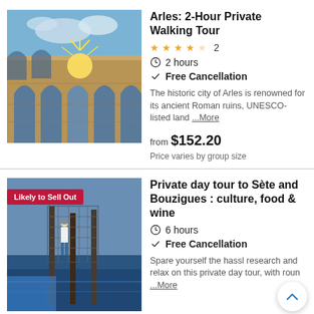[Figure (photo): Photo of the Arles Roman amphitheater with sun rays shining through an arch, blue sky with clouds]
Arles: 2-Hour Private Walking Tour
★★★★☆ 2
2 hours
Free Cancellation
The historic city of Arles is renowned for its ancient Roman ruins, UNESCO-listed land ...More
from $152.20
Price varies by group size
[Figure (photo): Photo of a person working on fishing nets or marine equipment at a dock, blue tarpaulins visible]
Likely to Sell Out
Private day tour to Sète and Bouzigues : culture, food & wine
6 hours
Free Cancellation
Spare yourself the hassl research and relax on this private day tour, with roun ...More